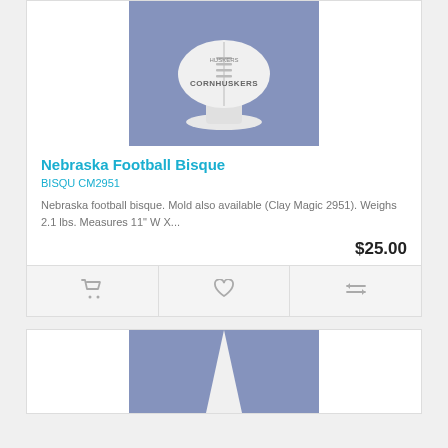[Figure (photo): White ceramic Nebraska Cornhuskers football bisque on a stand, displayed against a light blue/periwinkle background]
Nebraska Football Bisque
BISQU CM2951
Nebraska football bisque. Mold also available (Clay Magic 2951). Weighs 2.1 lbs. Measures 11" W X...
$25.00
[Figure (photo): Second product image showing a white ceramic bisque piece (cone/spire shape) against a periwinkle background, partially visible]